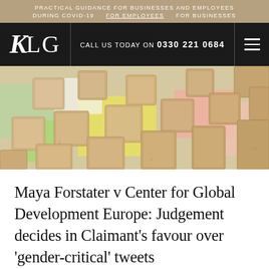PRACTICAL GUIDANCE FOR BUSINESSES AND EMPLOYEES DURING COVID-19   FOR EMPLOYEES   FOR BUSINESSES
KLG   CALL US TODAY ON 0330 221 0684
[Figure (photo): Overhead photo of scattered wooden Scrabble-like letter tiles on colorful paper backgrounds (green, yellow, pink, white).]
Maya Forstater v Center for Global Development Europe: Judgement decides in Claimant's favour over 'gender-critical' tweets